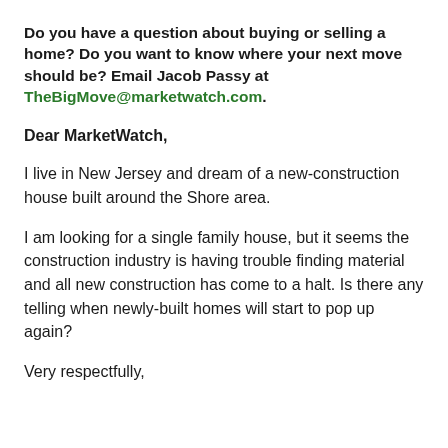Do you have a question about buying or selling a home? Do you want to know where your next move should be? Email Jacob Passy at TheBigMove@marketwatch.com.
Dear MarketWatch,
I live in New Jersey and dream of a new-construction house built around the Shore area.
I am looking for a single family house, but it seems the construction industry is having trouble finding material and all new construction has come to a halt. Is there any telling when newly-built homes will start to pop up again?
Very respectfully,